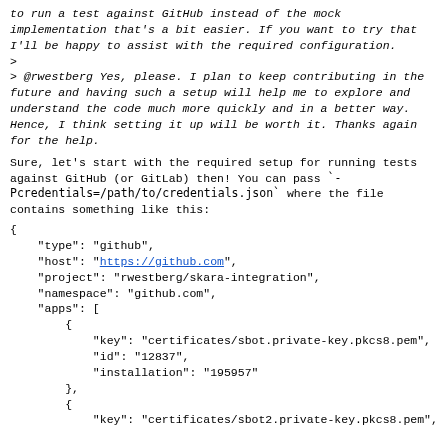to run a test against GitHub instead of the mock implementation that's a bit easier. If you want to try that I'll be happy to assist with the required configuration.
>
> @rwestberg Yes, please. I plan to keep contributing in the future and having such a setup will help me to explore and understand the code much more quickly and in a better way. Hence, I think setting it up will be worth it. Thanks again for the help.
Sure, let's start with the required setup for running tests against GitHub (or GitLab) then! You can pass `-Pcredentials=/path/to/credentials.json` where the file contains something like this:
{
    "type": "github",
    "host": "https://github.com",
    "project": "rwestberg/skara-integration",
    "namespace": "github.com",
    "apps": [
        {
            "key": "certificates/sbot.private-key.pkcs8.pem",
            "id": "12837",
            "installation": "195957"
        },
        {
            "key": "certificates/sbot2.private-key.pkcs8.pem"